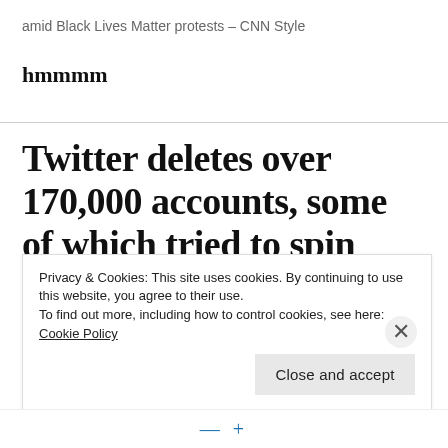amid Black Lives Matter protests – CNN Style
hmmmm
Twitter deletes over 170,000 accounts, some of which tried to spin Covid-19 in China's favor
Privacy & Cookies: This site uses cookies. By continuing to use this website, you agree to their use. To find out more, including how to control cookies, see here: Cookie Policy
Close and accept